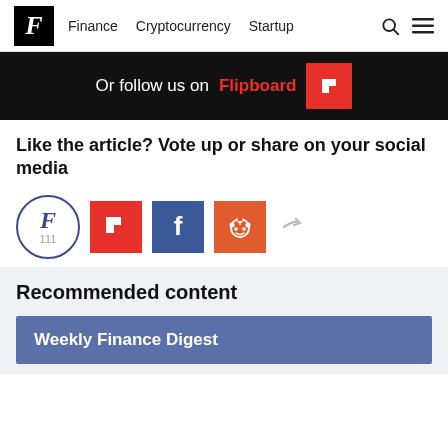F  Finance  Cryptocurrency  Startup
[Figure (other): Flipboard follow banner: black background with text 'Or follow us on Flipboard' and Flipboard logo (red square with F)]
Like the article? Vote up or share on your social media
[Figure (other): Social sharing buttons row: circular F badge with count 111, Flipboard red button, Facebook blue button, Reddit orange button, share arrow]
Recommended content
[Figure (other): Weekly Finance Digest banner with blue-grey background]